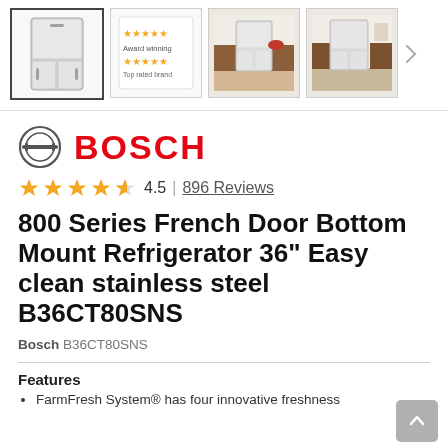[Figure (screenshot): Four product thumbnail images: a Bosch French door refrigerator front view (selected/highlighted), a star rating card, a refrigerator in a kitchen setting, and another kitchen scene with refrigerator.]
[Figure (logo): Bosch logo: circular icon with H-like symbol and red BOSCH text]
4.5 | 896 Reviews
800 Series French Door Bottom Mount Refrigerator 36" Easy clean stainless steel B36CT80SNS
Bosch B36CT80SNS
Features
FarmFresh System® has four innovative freshness